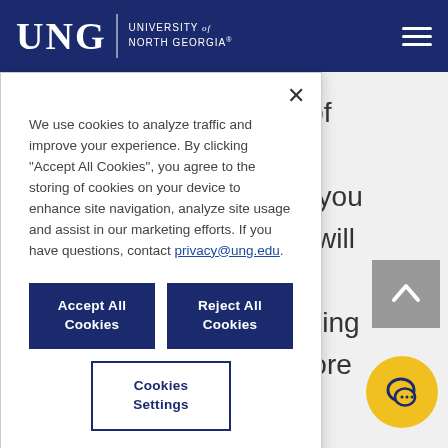UNG | University of North Georgia
[Figure (screenshot): Partially visible background page text showing fragments: 'variety of', 'nesville', 'provide you', 'ies and will', 'ur', 'challenging', 'lls, explore']
We use cookies to analyze traffic and improve your experience. By clicking "Accept All Cookies", you agree to the storing of cookies on your device to enhance site navigation, analyze site usage and assist in our marketing efforts. If you have questions, contact privacy@ung.edu.
Accept All Cookies
Reject All Cookies
Cookies Settings